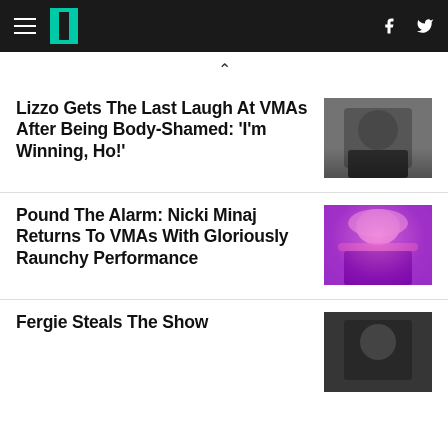HuffPost navigation with hamburger menu, logo, Facebook and Twitter icons
Lizzo Gets The Last Laugh At VMAs After Being Body-Shamed: 'I'm Winning, Ho!'
[Figure (photo): Photo of Lizzo performing or reacting at VMAs, wearing black outfit]
Pound The Alarm: Nicki Minaj Returns To VMAs With Gloriously Raunchy Performance
[Figure (photo): Photo of Nicki Minaj performing with pink hair at VMAs against purple lit background]
Fergie Steals The Show